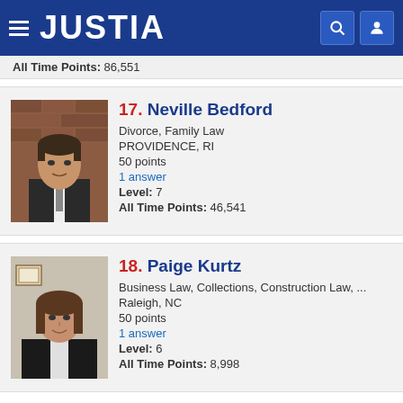JUSTIA
All Time Points: 86,551
[Figure (photo): Professional headshot of Neville Bedford, a man in a suit against a brick wall background]
17. Neville Bedford
Divorce, Family Law
PROVIDENCE, RI
50 points
1 answer
Level: 7
All Time Points: 46,541
[Figure (photo): Professional headshot of Paige Kurtz, a woman with brown hair in professional attire]
18. Paige Kurtz
Business Law, Collections, Construction Law, ...
Raleigh, NC
50 points
1 answer
Level: 6
All Time Points: 8,998